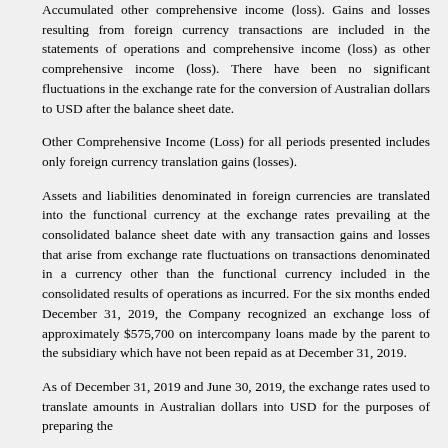Accumulated other comprehensive income (loss). Gains and losses resulting from foreign currency transactions are included in the statements of operations and comprehensive income (loss) as other comprehensive income (loss). There have been no significant fluctuations in the exchange rate for the conversion of Australian dollars to USD after the balance sheet date.
Other Comprehensive Income (Loss) for all periods presented includes only foreign currency translation gains (losses).
Assets and liabilities denominated in foreign currencies are translated into the functional currency at the exchange rates prevailing at the consolidated balance sheet date with any transaction gains and losses that arise from exchange rate fluctuations on transactions denominated in a currency other than the functional currency included in the consolidated results of operations as incurred. For the six months ended December 31, 2019, the Company recognized an exchange loss of approximately $575,700 on intercompany loans made by the parent to the subsidiary which have not been repaid as at December 31, 2019.
As of December 31, 2019 and June 30, 2019, the exchange rates used to translate amounts in Australian dollars into USD for the purposes of preparing the